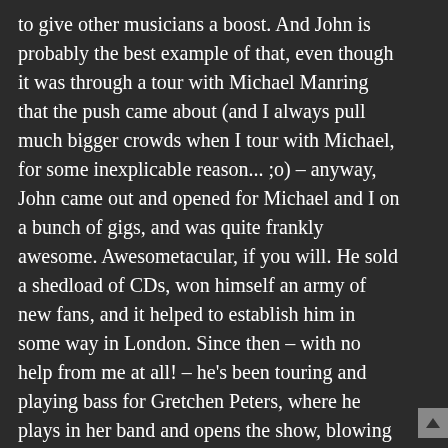to give other musicians a boost. And John is probably the best example of that, even though it was through a tour with Michael Manring that the push came about (and I always pull much bigger crowds when I tour with Michael, for some inexplicable reason... ;o) – anyway, John came out and opened for Michael and I on a bunch of gigs, and was quite frankly awesome. Awesometacular, if you will. He sold a shedload of CDs, won himself an army of new fans, and it helped to establish him in some way in London. Since then – with no help from me at all! – he's been touring and playing bass for Gretchen Peters, where he plays in her band and opens the show, blowing away audiences night after night, and winning himself so many new fans along the way. He's a great performer